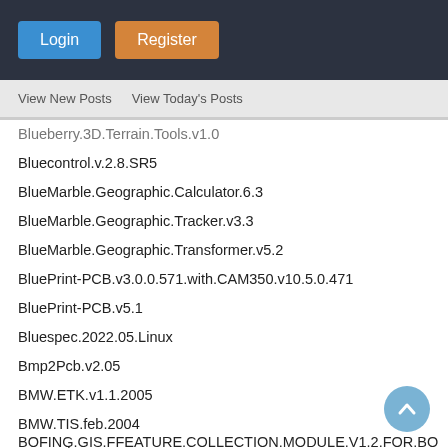Login | Register
View New Posts   View Today's Posts
Blueberry.3D.Terrain.Tools.v1.0
Bluecontrol.v.2.8.SR5
BlueMarble.Geographic.Calculator.6.3
BlueMarble.Geographic.Tracker.v3.3
BlueMarble.Geographic.Transformer.v5.2
BluePrint-PCB.v3.0.0.571.with.CAM350.v10.5.0.471
BluePrint-PCB.v5.1
Bluespec.2022.05.Linux
Bmp2Pcb.v2.05
BMW.ETK.v1.1.2005
BMW.TIS.feb.2004
BnK.Pulse.V21.0.0.671
BoardMaster.LPKF.v5.1.Full
BobCAD-CAM.v30.2553
Bobs.Track.Builder.Pro.v0.8.0.3
BobWIRE.v19.3
BoCAD.3D.v20.0
BOFING.GIS.FFEATURE.COLLECTION.MODULE.V1.2.FOR.BOFING